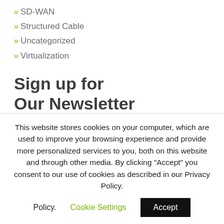» SD-WAN
» Structured Cable
» Uncategorized
» Virtualization
Sign up for Our Newsletter
Name
This website stores cookies on your computer, which are used to improve your browsing experience and provide more personalized services to you, both on this website and through other media. By clicking "Accept" you consent to our use of cookies as described in our Privacy Policy.
Cookie Settings
Accept